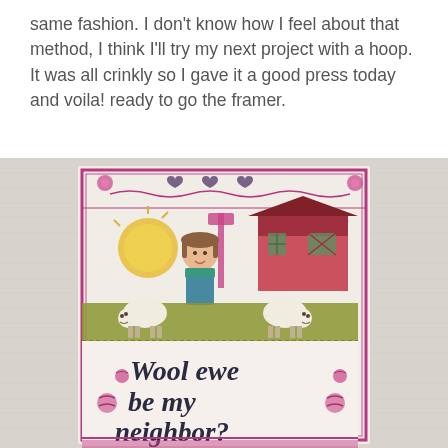same fashion. I don't know how I feel about that method, I think I'll try my next project with a hoop. It was all crinkly so I gave it a good press today and voila! ready to go the framer.
[Figure (photo): A photograph of a completed cross-stitch embroidery piece on white linen fabric. The embroidery shows a whimsical farm scene with a girl, sheep, a barn, and decorative borders. The text 'Wool ewe be my neighbor?' is stitched in dark lettering on the lower portion.]